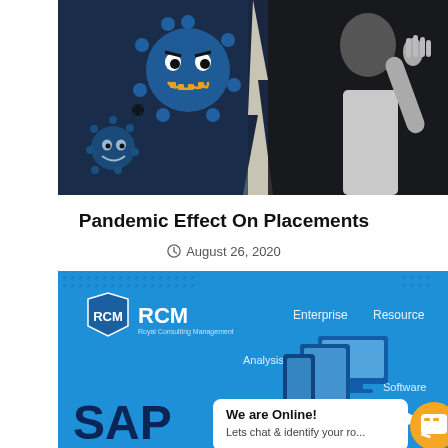[Figure (illustration): Dark blue/navy background image showing cartoon virus characters on the left half and a man gesturing with his hand on the right half, with a lightning bolt dividing them.]
Pandemic Effect On Placements
August 26, 2020
[Figure (screenshot): Blue banner for RCM showing SAP Enterprise Resource Analysis Software graphic with isometric illustrations of devices and technology. A chat popup reads 'We are Online! Lets chat & identify your ro...' with an orange chat button on the right.]